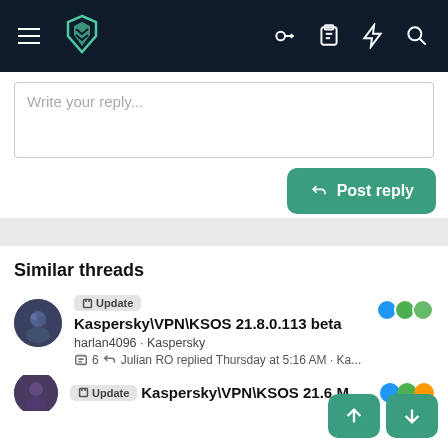Navigation bar with hamburger menu, logo, key icon, clipboard icon, lightning icon, search icon
Write your reply...
Post reply
Similar threads
Update  Kaspersky\VPN\KSOS 21.8.0.113 beta
harlan4096 · Kaspersky
6 · Julian RO replied Thursday at 5:16 AM · Kaspersky
Update  Kaspersky\VPN\KSOS 21.6 MR6